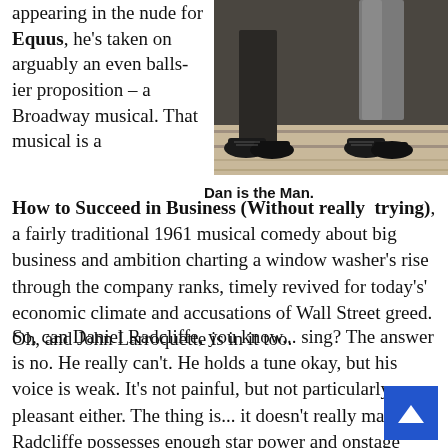appearing in the nude for Equus, he's taken on arguably an even balls-ier proposition – a Broadway musical. That musical is a How to Succeed in Business (Without really trying), a fairly traditional 1961 musical comedy about big business and ambition charting a window washer's rise through the company ranks, timely revived for today's' economic climate and accusations of Wall Street greed. Oh, and John Larroquette is in it too.
[Figure (photo): Photo showing legs and shoes of a person, likely on a stage or formal setting. Black shoes visible at bottom of frame.]
Dan is the Man.
So, can Daniel Radcliffe, you know... sing? The answer is no. He really can't. He holds a tune okay, but his voice is weak. It's not painful, but not particularly pleasant either. The thing is... it doesn't really matter. Radcliffe possesses enough star power and onstage charisma, a flash of his smile enough to get over his vocals. Impressively, he completely plunges him into the many dance numbers required of his character, and